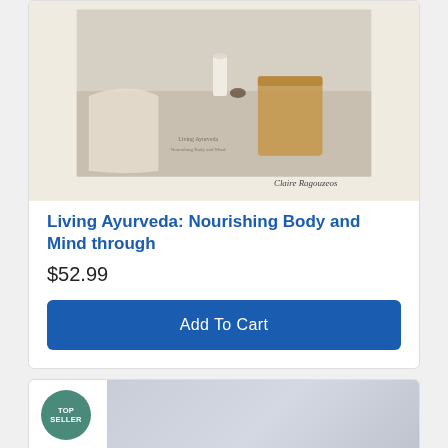[Figure (photo): Book cover of 'Living Ayurveda: Nourishing Body and Mind through' by Claire Ragouzeos, showing a styled coffee table with cream/beige tones, a blanket, candle, and basket, photographed in warm neutral tones]
Living Ayurveda: Nourishing Body and Mind through
$52.99
Add To Cart
[Figure (photo): Second product card showing a 'TOP SELLER' badge in teal/green circle, with a gray-toned product image partially visible]